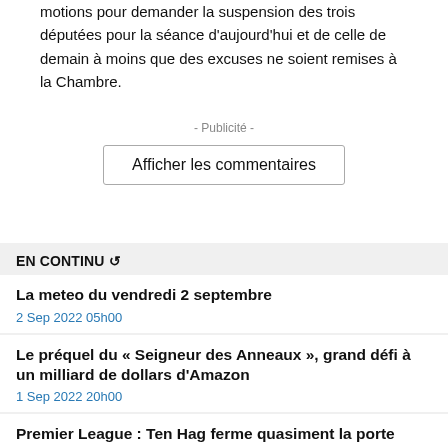motions pour demander la suspension des trois députées pour la séance d'aujourd'hui et de celle de demain à moins que des excuses ne soient remises à la Chambre.
- Publicité -
Afficher les commentaires
EN CONTINU ↺
La meteo du vendredi 2 septembre
2 Sep 2022 05h00
Le préquel du « Seigneur des Anneaux », grand défi à un milliard de dollars d'Amazon
1 Sep 2022 20h00
Premier League : Ten Hag ferme quasiment la porte...